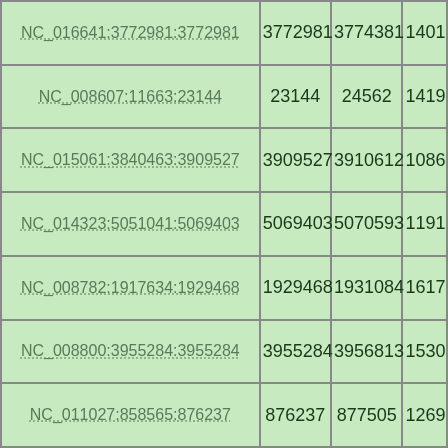| NC_016641:3772981:3772981 | 3772981 | 3774381 | 1401 |
| NC_008607:11663:23144 | 23144 | 24562 | 1419 |
| NC_015061:3840463:3909527 | 3909527 | 3910612 | 1086 |
| NC_014323:5051041:5069403 | 5069403 | 5070593 | 1191 |
| NC_008782:1917634:1929468 | 1929468 | 1931084 | 1617 |
| NC_008800:3955284:3955284 | 3955284 | 3956813 | 1530 |
| NC_011027:858565:876237 | 876237 | 877505 | 1269 |